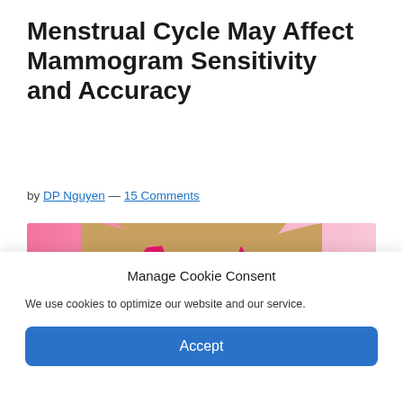Menstrual Cycle May Affect Mammogram Sensitivity and Accuracy
by DP Nguyen — 15 Comments
[Figure (photo): Woman wearing a pink shirt with a pink ribbon breast cancer awareness symbol, photographed from the neck down against a pink background.]
Manage Cookie Consent
We use cookies to optimize our website and our service.
Accept